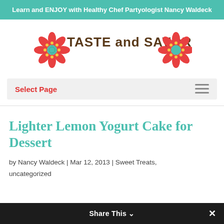Learn and ENJOY with Healthy Chef Partyologist Nancy Waldeck
[Figure (logo): Taste and Savor logo with red flower decorations and teal/green text]
Select Page
Lighter Lemon Yogurt Cake for Dessert
by Nancy Waldeck | Mar 12, 2013 | Sweet Treats, uncategorized
Share This